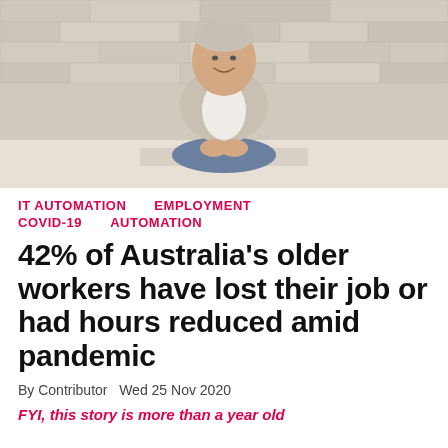[Figure (photo): Man in light blazer and jeans sitting against a stone wall background, smiling at camera]
IT AUTOMATION   EMPLOYMENT   COVID-19   AUTOMATION
42% of Australia's older workers have lost their job or had hours reduced amid pandemic
By Contributor   Wed 25 Nov 2020
FYI, this story is more than a year old